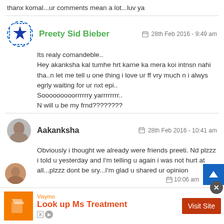thanx komal...ur comments mean a lot...luv ya
Preety Sid Bieber · 28th Feb 2016 - 9:49 am
Its realy comandeble..
Hey akanksha kal tumhe hrt karne ka mera koi intnsn nahi tha..n let me tell u one thing i love ur ff vry much n i alwys egrly waiting for ur nxt epi..
Sooooooooorrrrrry yarrrrrrrr..
N will u be my frnd????????
Aakanksha · 28th Feb 2016 - 10:41 am
Obviously i thought we already were friends preeti. Nd plzzz i told u yesterday and I'm telling u again i was not hurt at all...plzzz dont be sry...I'm glad u shared ur opinion
[Figure (screenshot): Advertisement bar: Visymo - Look up Ms Treatment with Visit Site button]
10:06 am